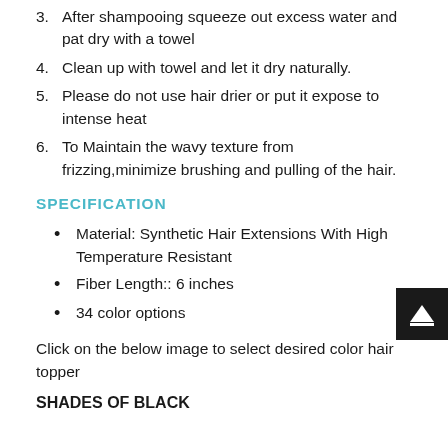3. After shampooing squeeze out excess water and pat dry with a towel
4. Clean up with towel and let it dry naturally.
5. Please do not use hair drier or put it expose to intense heat
6. To Maintain the wavy texture from frizzing,minimize brushing and pulling of the hair.
SPECIFICATION
Material: Synthetic Hair Extensions With High Temperature Resistant
Fiber Length:: 6 inches
34 color options
Click on the below image to select desired color hair topper
SHADES OF BLACK